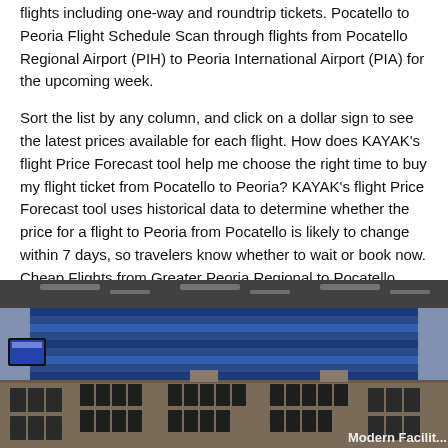flights including one-way and roundtrip tickets. Pocatello to Peoria Flight Schedule Scan through flights from Pocatello Regional Airport (PIH) to Peoria International Airport (PIA) for the upcoming week.
Sort the list by any column, and click on a dollar sign to see the latest prices available for each flight. How does KAYAK's flight Price Forecast tool help me choose the right time to buy my flight ticket from Pocatello to Peoria? KAYAK's flight Price Forecast tool uses historical data to determine whether the price for a flight to Peoria from Pocatello is likely to change within 7 days, so travelers know whether to wait or book now. Cheap Flights from Greater Peoria Regional to Pocatello Regional.
Prices were available within the past 7 days and starts at for one-way flights andfor round trip, for the period specified.
[Figure (photo): Interior of an airport terminal with rows of dark seating chairs, large blue-lit windows/walls, overhead lighting, and a TV monitor visible. Text 'Modern Facilit...' partially visible at bottom right.]